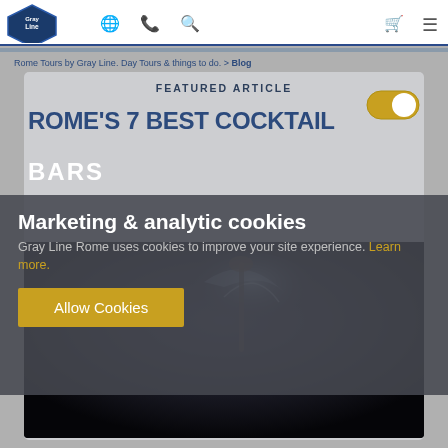Gray Line logo, navigation icons (globe, phone, search, cart, menu)
Rome Tours by Gray Line. Day Tours & things to do. > Blog
FEATURED ARTICLE
ROME'S 7 BEST COCKTAIL BARS
Marketing & analytic cookies
Gray Line Rome uses cookies to improve your site experience. Learn more.
Allow Cookies
[Figure (photo): Dark photo of a bartender making a cocktail with liquid splash]